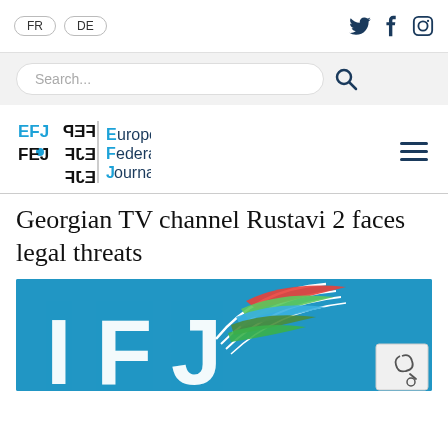FR | DE  [Twitter] [Facebook] [Instagram]
[Figure (screenshot): Search bar with placeholder text 'Search...' and search icon on grey background]
[Figure (logo): European Federation of Journalists (EFJ/FEP) logo with blue and black text and hamburger menu icon]
Georgian TV channel Rustavi 2 faces legal threats
[Figure (photo): Partial view of IFJ (International Federation of Journalists) logo on blue background with white letters and colorful feather/leaf graphic]